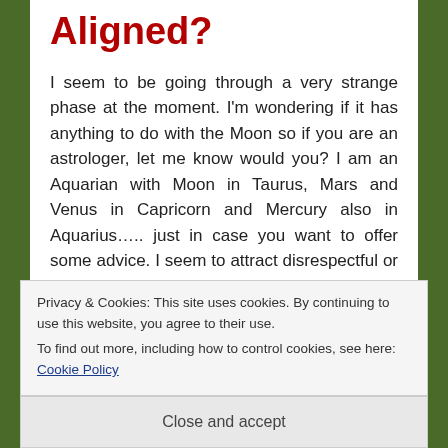Aligned?
I seem to be going through a very strange phase at the moment. I'm wondering if it has anything to do with the Moon so if you are an astrologer, let me know would you? I am an Aquarian with Moon in Taurus, Mars and Venus in Capricorn and Mercury also in Aquarius….. just in case you want to offer some advice. I seem to attract disrespectful or strange behaviour. This morning, I almost got run down on a pedestrian crossing, also last night. I may as well be invisible on those crossings. When driving, it's always me that people cut off or wish to pass at 20km/hr faster than the speed limit and so on. And behind Aand
Privacy & Cookies: This site uses cookies. By continuing to use this website, you agree to their use.
To find out more, including how to control cookies, see here: Cookie Policy
Close and accept